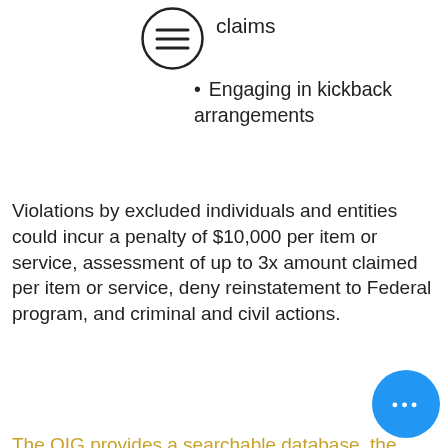[Figure (other): Circular menu/hamburger icon with three horizontal lines]
claims
Engaging in kickback arrangements
Violations by excluded individuals and entities could incur a penalty of $10,000 per item or service, assessment of up to 3x amount claimed per item or service, deny reinstatement to Federal program, and criminal and civil actions.
The OIG provides a searchable database, the “List of Excluded Individuals/Entities” or LEIE.
Every practice should have a policy plan in place for regularly checking LEIE for every employee. By performing